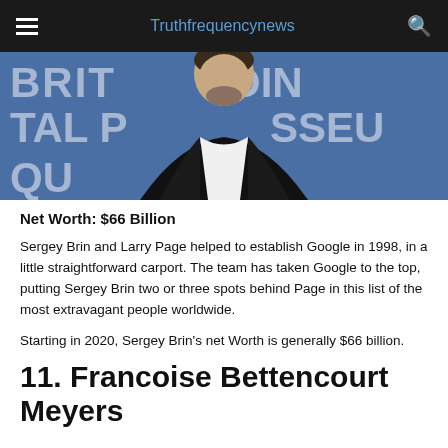Truthfrequencynews
[Figure (photo): A man in a black jacket and white shirt standing in front of a blue sign with partial white text visible.]
Net Worth: $66 Billion
Sergey Brin and Larry Page helped to establish Google in 1998, in a little straightforward carport. The team has taken Google to the top, putting Sergey Brin two or three spots behind Page in this list of the most extravagant people worldwide.
Starting in 2020, Sergey Brin's net Worth is generally $66 billion.
11. Francoise Bettencourt Meyers